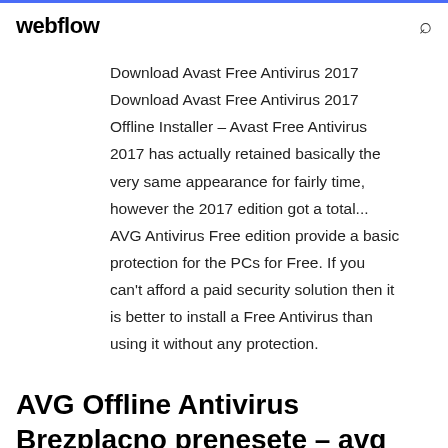webflow
Download Avast Free Antivirus 2017 Download Avast Free Antivirus 2017 Offline Installer – Avast Free Antivirus 2017 has actually retained basically the very same appearance for fairly time, however the 2017 edition got a total... AVG Antivirus Free edition provide a basic protection for the PCs for Free. If you can't afford a paid security solution then it is better to install a Free Antivirus than using it without any protection.
AVG Offline Antivirus Brezplacno prenesete – avg antivirus offline